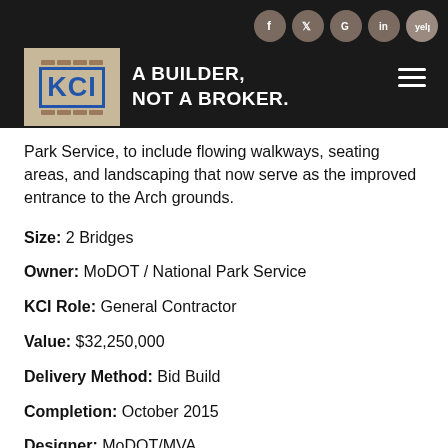A BUILDER, NOT A BROKER.
Park Service, to include flowing walkways, seating areas, and landscaping that now serve as the improved entrance to the Arch grounds.
Size: 2 Bridges
Owner: MoDOT / National Park Service
KCI Role: General Contractor
Value: $32,250,000
Delivery Method: Bid Build
Completion: October 2015
Designer: MoDOT/MVA